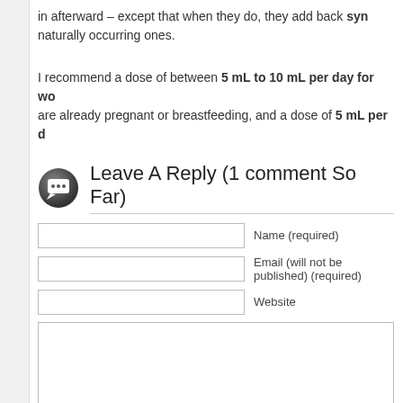in afterward – except that when they do, they add back synthetic vitamins instead of naturally occurring ones.
I recommend a dose of between 5 mL to 10 mL per day for women who are already pregnant or breastfeeding, and a dose of 5 mL per d
Leave A Reply (1 comment So Far)
Name (required)
Email (will not be published) (required)
Website